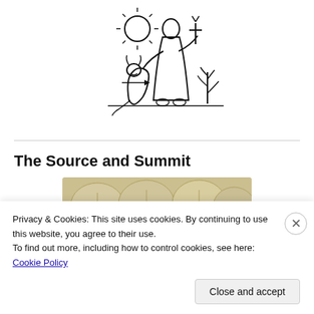[Figure (illustration): Black and white line drawing of a robed figure (saint) with a wolf/dog at their side, a sun above, a plant to the right, and holding a cross or staff]
The Source and Summit
[Figure (photo): Photo of round flat bread/crackers, cream/tan colored]
Privacy & Cookies: This site uses cookies. By continuing to use this website, you agree to their use.
To find out more, including how to control cookies, see here: Cookie Policy
Close and accept